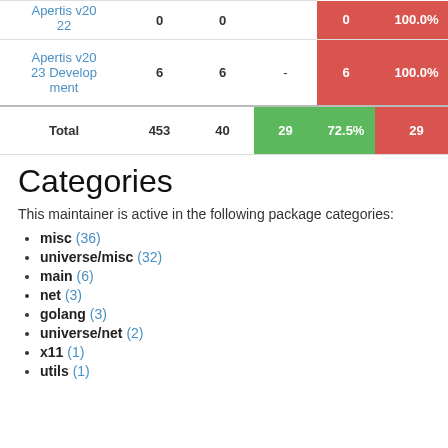| Name |  |  |  |  |  |  |
| --- | --- | --- | --- | --- | --- | --- |
| Apertis v2022 | 0 | 0 | - | 0 | 100.0% |  |
| Apertis v2023 Development | 6 | 6 | - | 6 | 100.0% |  |
| Total | 453 | 40 | 29 | 72.5% | 29 | 72.5% |
Categories
This maintainer is active in the following package categories:
misc (36)
universe/misc (32)
main (6)
net (3)
golang (3)
universe/net (2)
x11 (1)
utils (1)